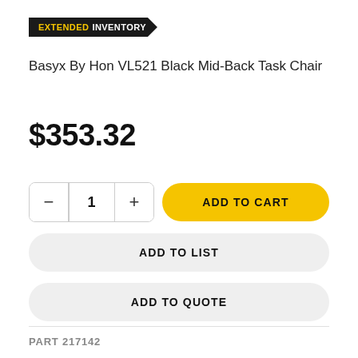EXTENDED INVENTORY
Basyx By Hon VL521 Black Mid-Back Task Chair
$353.32
1
ADD TO CART
ADD TO LIST
ADD TO QUOTE
PART 217142